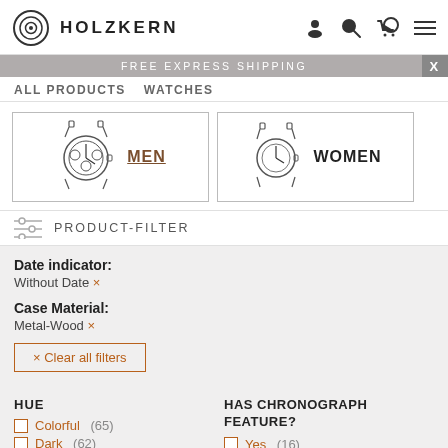HOLZKERN
FREE EXPRESS SHIPPING
ALL PRODUCTS   WATCHES
[Figure (illustration): Two watch category buttons: MEN with a chronograph watch illustration, WOMEN with a simple watch illustration]
PRODUCT-FILTER
Date indicator:
Without Date ×
Case Material:
Metal-Wood ×
× Clear all filters
HUE
HAS CHRONOGRAPH FEATURE?
Colorful (65)
Dark (62)
Yes (16)